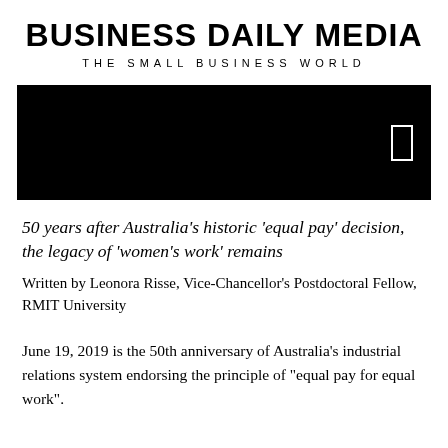BUSINESS DAILY MEDIA
THE SMALL BUSINESS WORLD
[Figure (photo): Black rectangle hero image with a small white rectangle icon on the right side]
50 years after Australia's historic 'equal pay' decision, the legacy of 'women's work' remains
Written by Leonora Risse, Vice-Chancellor's Postdoctoral Fellow, RMIT University
June 19, 2019 is the 50th anniversary of Australia’s industrial relations system endorsing the principle of “equal pay for equal work”.